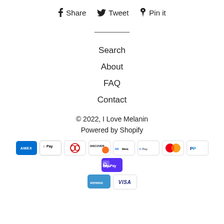f Share  🐦 Tweet  ♡ Pin it
Search
About
FAQ
Contact
© 2022, I Love Melanin
Powered by Shopify
[Figure (other): Payment method icons: American Express, Apple Pay, Diners Club, Discover, Meta Pay, Google Pay, Mastercard, PayPal, Shop Pay, Venmo, Visa]